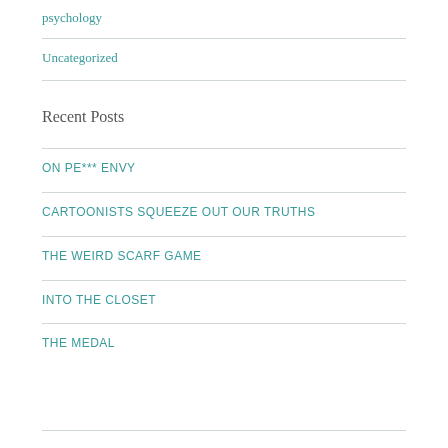psychology
Uncategorized
Recent Posts
ON PE*** ENVY
CARTOONISTS SQUEEZE OUT OUR TRUTHS
THE WEIRD SCARF GAME
INTO THE CLOSET
THE MEDAL